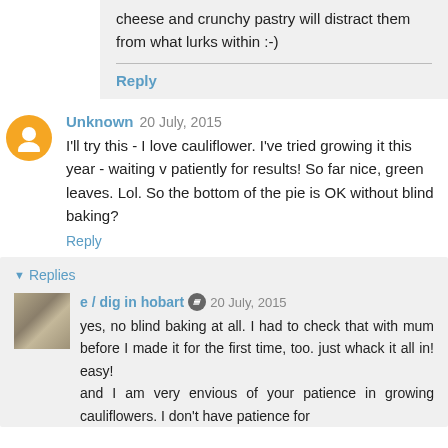cheese and crunchy pastry will distract them from what lurks within :-)
Reply
Unknown 20 July, 2015
I'll try this - I love cauliflower. I've tried growing it this year - waiting v patiently for results! So far nice, green leaves. Lol. So the bottom of the pie is OK without blind baking?
Reply
Replies
e / dig in hobart 20 July, 2015
yes, no blind baking at all. I had to check that with mum before I made it for the first time, too. just whack it all in! easy! and I am very envious of your patience in growing cauliflowers. I don't have patience for